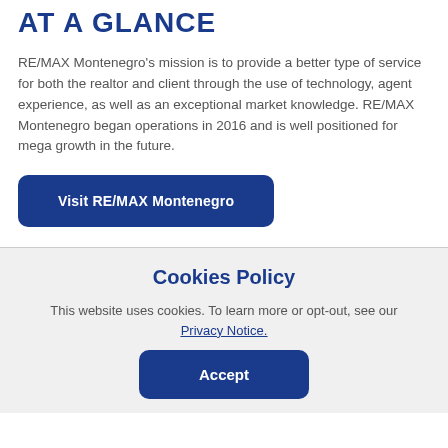AT A GLANCE
RE/MAX Montenegro's mission is to provide a better type of service for both the realtor and client through the use of technology, agent experience, as well as an exceptional market knowledge. RE/MAX Montenegro began operations in 2016 and is well positioned for mega growth in the future.
Visit RE/MAX Montenegro
Cookies Policy
This website uses cookies. To learn more or opt-out, see our Privacy Notice.
Accept